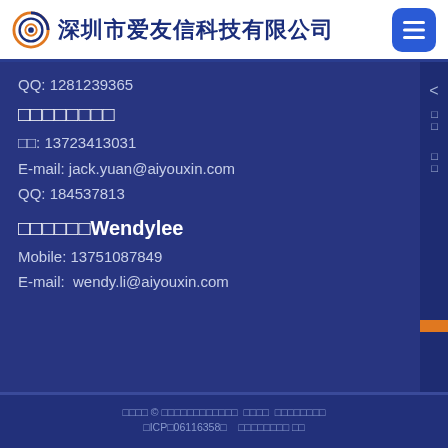深圳市爱友信科技有限公司
QQ: 1281239365
□□□□□□□□
□□: 13723413031
E-mail: jack.yuan@aiyouxin.com
QQ: 184537813
□□□□□□Wendylee
Mobile: 13751087849
E-mail: wendy.li@aiyouxin.com
□□□□ © □□□□□□□□□□□□ □□□□ □□□□□□□□
□ICP□06116358□ □□□□□□□□ □□